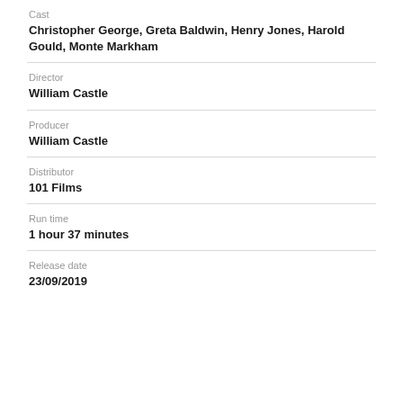Cast
Christopher George, Greta Baldwin, Henry Jones, Harold Gould, Monte Markham
Director
William Castle
Producer
William Castle
Distributor
101 Films
Run time
1 hour 37 minutes
Release date
23/09/2019